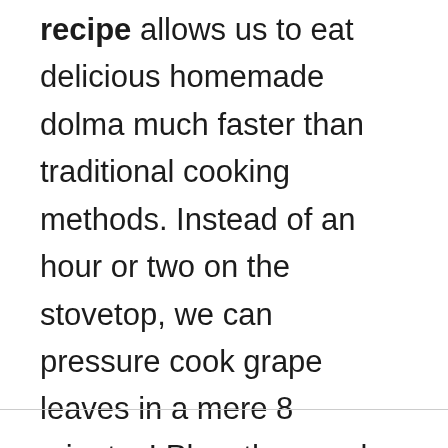recipe allows us to eat delicious homemade dolma much faster than traditional cooking methods. Instead of an hour or two on the stovetop, we can pressure cook grape leaves in a mere 8 minutes! Plus, they cook perfectly every time, with no worries of burning.
[Figure (other): Scroll-to-top button (chevron up icon) in a light gray circle]
[Figure (other): Favorite/like button (heart icon) in a light gray circle]
[Figure (other): Search button (magnifying glass icon) in a green circle]